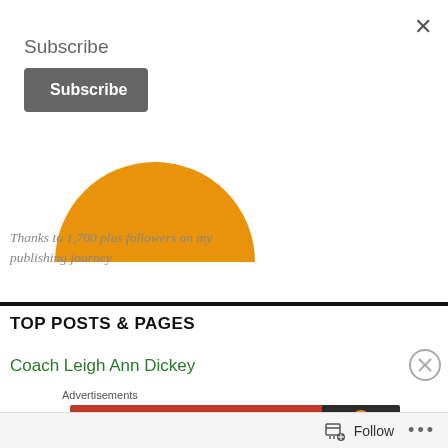×
Subscribe
Subscribe
[Figure (illustration): Orange semicircle shape representing a profile image or decorative graphic]
Thanks to 1,700 plus followers on my publishing journey
TOP POSTS & PAGES
Coach Leigh Ann Dickey
Advertisements
[Figure (screenshot): DuckDuckGo advertisement banner: 'Search, browse, and email with more privacy']
Follow